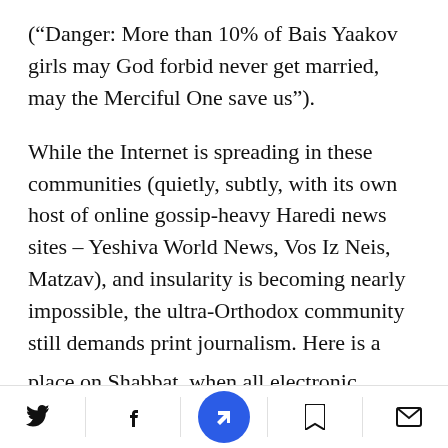(“Danger: More than 10% of Bais Yaakov girls may God forbid never get married, may the Merciful One save us”).
While the Internet is spreading in these communities (quietly, subtly, with its own host of online gossip-heavy Haredi news sites – Yeshiva World News, Vos Iz Neis, Matzav), and insularity is becoming nearly impossible, the ultra-Orthodox community still demands print journalism. Here is a world that relies heavily on internal newspapers for local community news, with most reading taking
social share toolbar with Twitter, Facebook, news icon, bookmark, mail icons